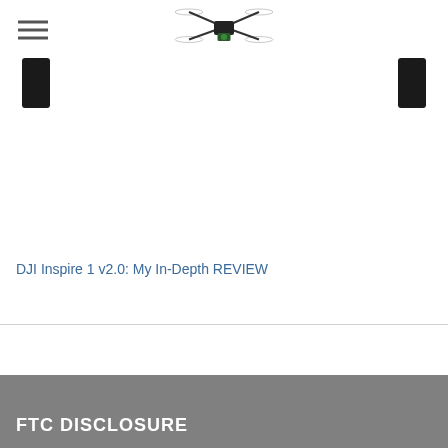[Figure (photo): Website header with hamburger menu icon on the left and a drone/quadcopter logo image in the center]
[Figure (photo): Partial view of drone landing gear legs visible at top of content area, black rectangular legs on left and right edges]
DJI Inspire 1 v2.0: My In-Depth REVIEW
FTC DISCLOSURE